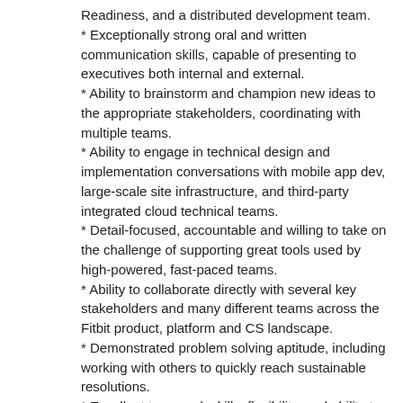Readiness, and a distributed development team.
* Exceptionally strong oral and written communication skills, capable of presenting to executives both internal and external.
* Ability to brainstorm and champion new ideas to the appropriate stakeholders, coordinating with multiple teams.
* Ability to engage in technical design and implementation conversations with mobile app dev, large-scale site infrastructure, and third-party integrated cloud technical teams.
* Detail-focused, accountable and willing to take on the challenge of supporting great tools used by high-powered, fast-paced teams.
* Ability to collaborate directly with several key stakeholders and many different teams across the Fitbit product, platform and CS landscape.
* Demonstrated problem solving aptitude, including working with others to quickly reach sustainable resolutions.
* Excellent teamwork skills, flexibility, and ability to handle multiple concurrent tasks.
* Experience and passion for identifying ways to do things better and a sense of ownership that leads to the creation and implementation of new better methods and practices